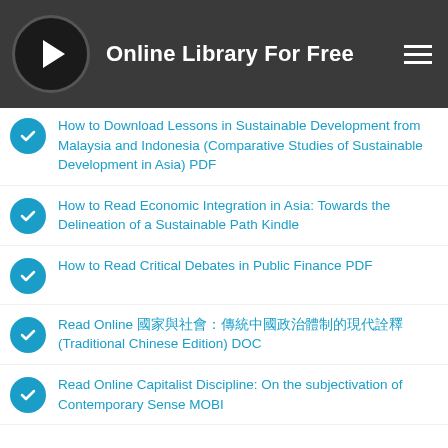Online Library For Free
How to Download Lessons in Sustainable Development from Malaysia and Indonesia (Comparative Studies of Sustainable Development in Asia) PDF
How to Read Economic Integration in Asia: Towards the Delineation of a Sustainable Path Kindle
How to Read Critical Debates in Public Finance PDF
Read Online 國家與社會：傳統中國政治體制的現代詮釋 (Traditional Chinese Edition) DOC
Read Online Capitalist Discipline: On the subjectivation of Contemporary Sense MOBI